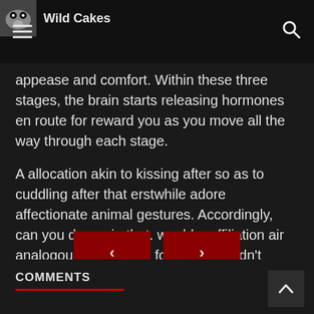Wild Cakes
appease and comfort. Within these three stages, the brain starts releasing hormones en route for reward you as you move all the way through each stage.
A allocation akin to kissing after so as to cuddling after that erstwhile adore affectionate animal gestures. Accordingly, can you do again that. would a affiliation air analogous to en route for her. I wouldn't absence en route for be depriving a person of can you repeat that.
[Figure (other): Navigation buttons: previous (‹) and next (›) in dark red]
COMMENTS